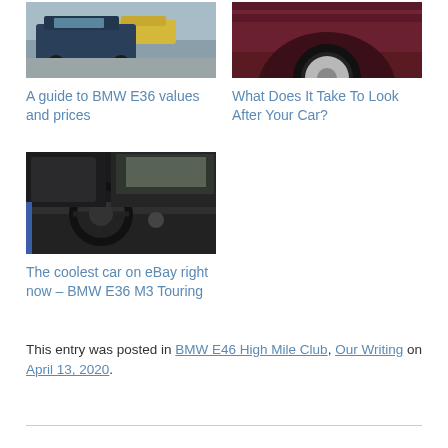[Figure (photo): Photo of BMW E36 cars in a parking lot, dark blue and yellow cars visible]
A guide to BMW E36 values and prices
[Figure (photo): Close-up photo of a dark maroon/burgundy car wheel area and body panel]
What Does It Take To Look After Your Car?
[Figure (photo): Interior photo of a BMW E36 M3 Touring showing steering wheel and dashboard]
The coolest car on eBay right now – BMW E36 M3 Touring
This entry was posted in BMW E46 High Mile Club, Our Writing on April 13, 2020.